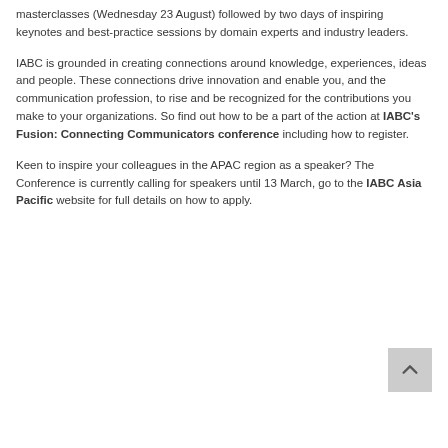masterclasses (Wednesday 23 August) followed by two days of inspiring keynotes and best-practice sessions by domain experts and industry leaders.
IABC is grounded in creating connections around knowledge, experiences, ideas and people. These connections drive innovation and enable you, and the communication profession, to rise and be recognized for the contributions you make to your organizations. So find out how to be a part of the action at IABC's Fusion: Connecting Communicators conference including how to register.
Keen to inspire your colleagues in the APAC region as a speaker? The Conference is currently calling for speakers until 13 March, go to the IABC Asia Pacific website for full details on how to apply.